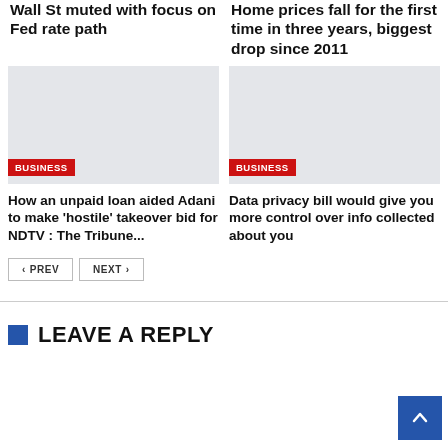Wall St muted with focus on Fed rate path
Home prices fall for the first time in three years, biggest drop since 2011
[Figure (photo): Gray placeholder image with BUSINESS badge]
How an unpaid loan aided Adani to make 'hostile' takeover bid for NDTV : The Tribune...
[Figure (photo): Gray placeholder image with BUSINESS badge]
Data privacy bill would give you more control over info collected about you
PREV  NEXT
LEAVE A REPLY